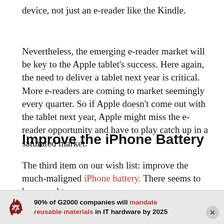device, not just an e-reader like the Kindle.
Nevertheless, the emerging e-reader market will be key to the Apple tablet’s success. Here again, the need to deliver a tablet next year is critical. More e-readers are coming to market seemingly every quarter. So if Apple doesn’t come out with the tablet next year, Apple might miss the e-reader opportunity and have to play catch up in a saturated market.
Improve the iPhone Battery
The third item on our wish list: improve the much-maligned iPhone battery. There seems to be no end to the li...
90% of G2000 companies will mandate reusable materials in IT hardware by 2025